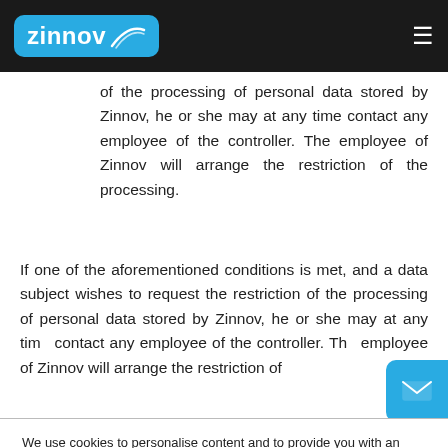zinnov [logo] with hamburger menu
of the processing of personal data stored by Zinnov, he or she may at any time contact any employee of the controller. The employee of Zinnov will arrange the restriction of the processing.
If one of the aforementioned conditions is met, and a data subject wishes to request the restriction of the processing of personal data stored by Zinnov, he or she may at any time contact any employee of the controller. The employee of Zinnov will arrange the restriction of
We use cookies to personalise content and to provide you with an improved user experience. By using this website, you agree to the use of cookies as outlined in our Privacy Policy.
Ok, got it!